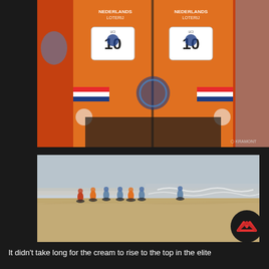[Figure (photo): Close-up photo of a cyclist wearing an orange Dutch national team jersey with number 10 bib, showing chest and torso area. The jersey features 'Nederlands Loterij' sponsor text and UCI race numbers on both sides.]
[Figure (photo): Wide shot of cyclists racing on a sandy beach with ocean waves in the background and an overcast sky. Several riders in a group are spread across the sand, with the sea visible on the right side.]
It didn't take long for the cream to rise to the top in the elite